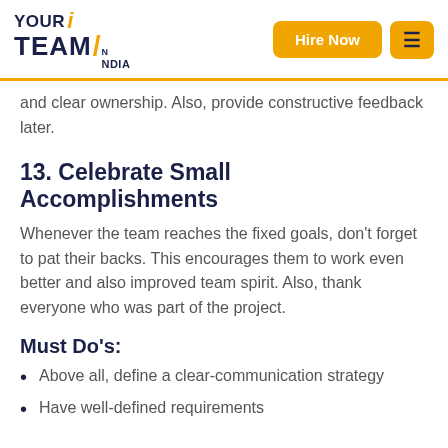YOUR TEAM IN INDIA — Hire Now
and clear ownership. Also, provide constructive feedback later.
13. Celebrate Small Accomplishments
Whenever the team reaches the fixed goals, don't forget to pat their backs. This encourages them to work even better and also improved team spirit. Also, thank everyone who was part of the project.
Must Do's:
Above all, define a clear-communication strategy
Have well-defined requirements